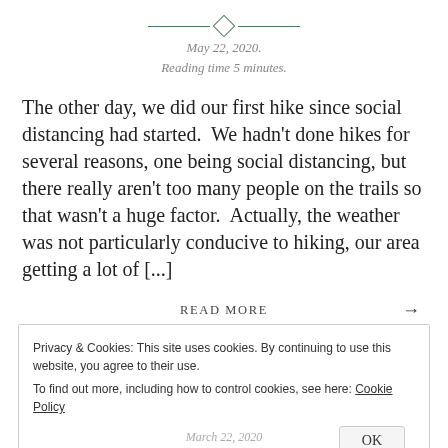[Figure (illustration): Decorative horizontal divider with diamond shape in center, flanked by horizontal lines in dark green]
May 22, 2020.
Reading time 5 minutes.
The other day, we did our first hike since social distancing had started.  We hadn't done hikes for several reasons, one being social distancing, but there really aren't too many people on the trails so that wasn't a huge factor.  Actually, the weather was not particularly conducive to hiking, our area getting a lot of [...]
READ MORE →
Privacy & Cookies: This site uses cookies. By continuing to use this website, you agree to their use.
To find out more, including how to control cookies, see here: Cookie Policy
OK
March 22, 2020